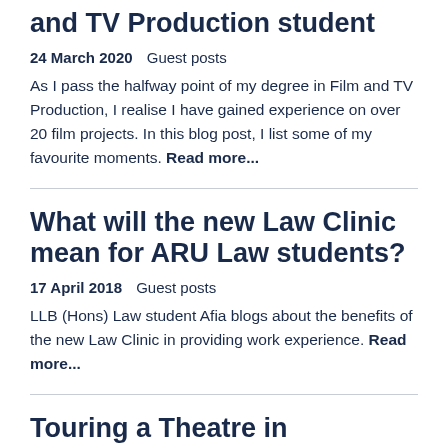and TV Production student
24 March 2020   Guest posts
As I pass the halfway point of my degree in Film and TV Production, I realise I have gained experience on over 20 film projects. In this blog post, I list some of my favourite moments. Read more...
What will the new Law Clinic mean for ARU Law students?
17 April 2018   Guest posts
LLB (Hons) Law student Afia blogs about the benefits of the new Law Clinic in providing work experience. Read more...
Touring a Theatre in Education production